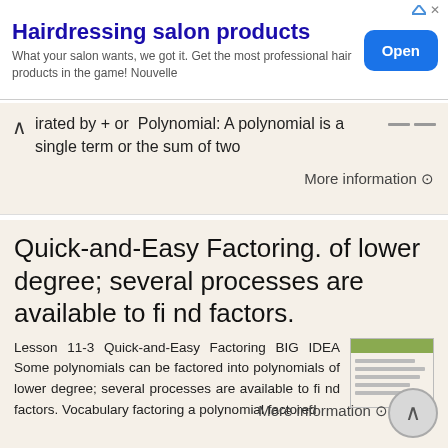[Figure (other): Advertisement banner for Hairdressing salon products with an Open button]
irated by + or  Polynomial: A polynomial is a single term or the sum of two
More information ⊙
Quick-and-Easy Factoring. of lower degree; several processes are available to fi nd factors.
Lesson 11-3 Quick-and-Easy Factoring BIG IDEA Some polynomials can be factored into polynomials of lower degree; several processes are available to fi nd factors. Vocabulary factoring a polynomial factored
More information ⊙